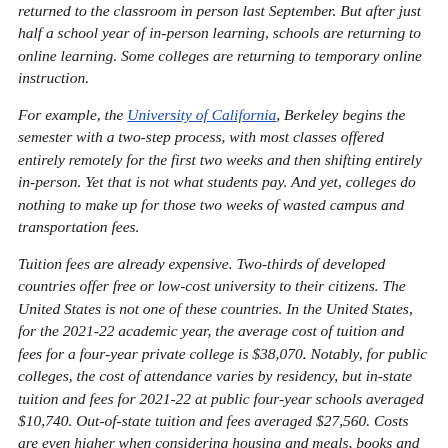returned to the classroom in person last September. But after just half a school year of in-person learning, schools are returning to online learning. Some colleges are returning to temporary online instruction.
For example, the University of California, Berkeley begins the semester with a two-step process, with most classes offered entirely remotely for the first two weeks and then shifting entirely in-person. Yet that is not what students pay. And yet, colleges do nothing to make up for those two weeks of wasted campus and transportation fees.
Tuition fees are already expensive. Two-thirds of developed countries offer free or low-cost university to their citizens. The United States is not one of these countries. In the United States, for the 2021-22 academic year, the average cost of tuition and fees for a four-year private college is $38,070. Notably, for public colleges, the cost of attendance varies by residency, but in-state tuition and fees for 2021-22 at public four-year schools averaged $10,740. Out-of-state tuition and fees averaged $27,560. Costs are even higher when considering housing and meals, books and supplies, health insurance, personal expenses, food and transportation.
A large portion of college tuition is spent on academic support, student services, and ancillary businesses. Academic support